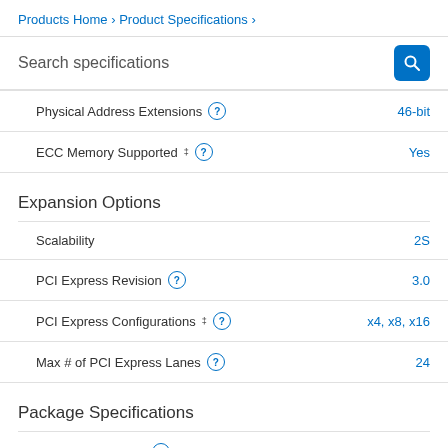Products Home › Product Specifications ›
Search specifications
| Specification | Value |
| --- | --- |
| Physical Address Extensions | 46-bit |
| ECC Memory Supported ‡ | Yes |
| Expansion Options |  |
| Scalability | 2S |
| PCI Express Revision | 3.0 |
| PCI Express Configurations ‡ | x4, x8, x16 |
| Max # of PCI Express Lanes | 24 |
| Package Specifications |  |
| Sockets Supported | FCLGA1356 |